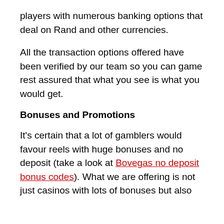players with numerous banking options that deal on Rand and other currencies.
All the transaction options offered have been verified by our team so you can game rest assured that what you see is what you would get.
Bonuses and Promotions
It's certain that a lot of gamblers would favour reels with huge bonuses and no deposit (take a look at Bovegas no deposit bonus codes). What we are offering is not just casinos with lots of bonuses but also